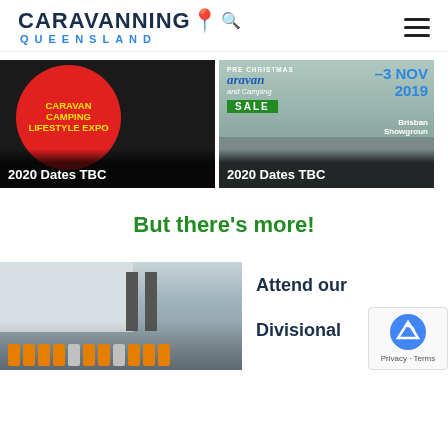CARAVANNING QUEENSLAND
[Figure (photo): Card showing Caravan Camping Lifestyle Expo Canberra with red circle logo on dark background, label: 2020 Dates TBC]
[Figure (photo): Card showing Pre Christmas Caravan and Camping SALE with Brisbane Showgrounds info and -3 NOV 2019 date, label: 2020 Dates TBC]
But there's more!
[Figure (photo): Group photo of people in high-vis vests in front of a building]
Attend our Divisional